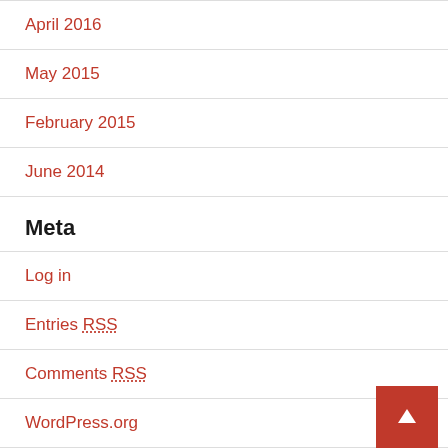April 2016
May 2015
February 2015
June 2014
Meta
Log in
Entries RSS
Comments RSS
WordPress.org